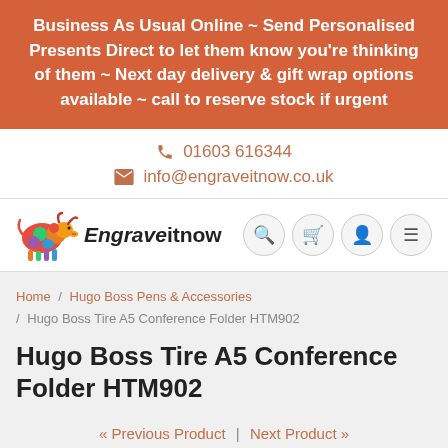Business As Usual Online ~ Send Personalised Presents Direct to let them know you're thinking of them ~ Next day delivery & gift wrap options available ~ call to reserve stock if urgent
01603 616344
info@engraveitnow.co.uk
[Figure (logo): Engraveitnow logo with colourful bull and text 'Engraveitnow']
Home / Hugo Boss Pens & Accessories / Hugo Boss Tire A5 Conference Folder HTM902
Hugo Boss Tire A5 Conference Folder HTM902
« Previous Product | Next Product »